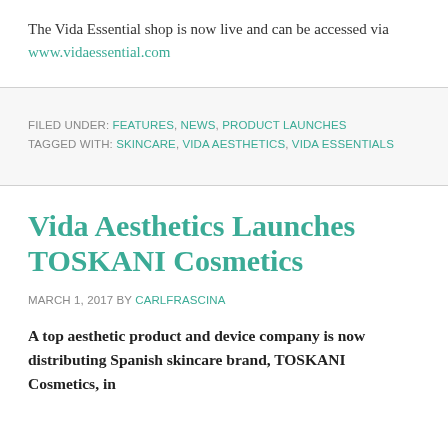The Vida Essential shop is now live and can be accessed via www.vidaessential.com
FILED UNDER: FEATURES, NEWS, PRODUCT LAUNCHES
TAGGED WITH: SKINCARE, VIDA AESTHETICS, VIDA ESSENTIALS
Vida Aesthetics Launches TOSKANI Cosmetics
MARCH 1, 2017 BY CARLFRASCINA
A top aesthetic product and device company is now distributing Spanish skincare brand, TOSKANI Cosmetics, in